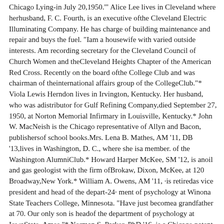Chicago Lying-in July 20,1950.'" Alice Lee lives in Cleveland where herhusband, F. C. Fourth, is an executive ofthe Cleveland Electric Illuminating Company. He has charge of building maintenance and repair and buys the fuel. "Iam a housewife with varied outside interests. Am recording secretary for the Cleveland Council of Church Women and theCleveland Heights Chapter of the American Red Cross. Recently on the board ofthe College Club and was chairman of theinternational affairs group of the CollegeClub."* Viola Lewis Herndon lives in Irvington, Kentucky. Her husband, who was adistributor for Gulf Refining Company,died September 27, 1950, at Norton Memorial Infirmary in Louisville, Kentucky.* John W. MacNeish is the Chicago representative of Allyn and Bacon, publishersof school books.Mrs. Lena B. Mathes, AM '11, DB '13,lives in Washington, D. C., where she isa member. of the Washington AlumniClub.* Howard Harper McKee, SM '12, is anoil and gas geologist with the firm ofBrokaw, Dixon, McKee, at 120 Broadway,New York.* William A. Owens, AM '11, ·is retiredas vice president and head of the depart-24· ment of psychology at Winona State Teachers College, Minnesota. "Have just becomea grandfather at 70. Our only son is headof the department of psychology at IowaState, Ames."* Norman S. Parker, PhD '16, is a Chicago patent lawyer. "In the same law office, Parker & Carter, since 1917; hence nonews except 5 children and 10 grandchildren.Continued next month.1912Arnold S. Baar, JD '14, president otChicago'S Civic Federation, made the